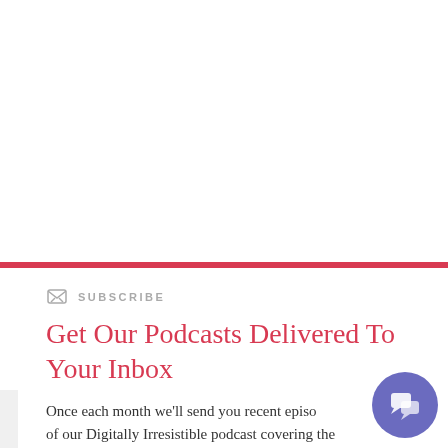[Figure (other): Horizontal red/pink divider bar spanning full width]
SUBSCRIBE
Get Our Podcasts Delivered To Your Inbox
Once each month we'll send you recent episodes of our Digitally Irresistible podcast covering the optimization of digital technology and irresistible
[Figure (other): Purple circular chat/support widget button in bottom-right corner]